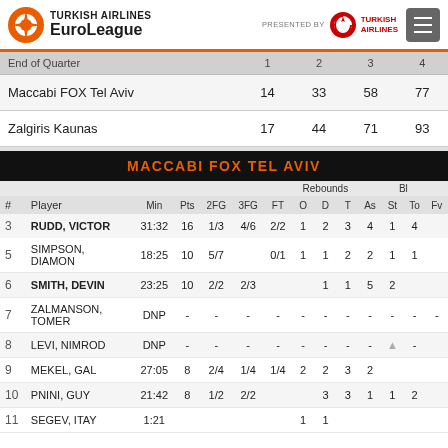TURKISH AIRLINES EuroLeague — Presented by Turkish Airlines
| End of Quarter | 1 | 2 | 3 | 4 |
| --- | --- | --- | --- | --- |
| Maccabi FOX Tel Aviv | 14 | 33 | 58 | 77 |
| Zalgiris Kaunas | 17 | 44 | 71 | 93 |
MACCABI FOX TEL AVIV
| # | Player | Min | Pts | 2FG | 3FG | FT | O | D | T | As | St | To | Fv |
| --- | --- | --- | --- | --- | --- | --- | --- | --- | --- | --- | --- | --- | --- |
| 3 | RUDD, VICTOR | 31:32 | 16 | 1/3 | 4/6 | 2/2 | 1 | 2 | 3 | 4 | 1 | 4 |  |
| 5 | SIMPSON, DIAMON | 18:25 | 10 | 5/7 |  | 0/1 | 1 | 1 | 2 | 2 | 1 | 1 |  |
| 6 | SMITH, DEVIN | 23:25 | 10 | 2/2 | 2/3 |  | 1 | 1 | 5 | 2 |  |  |  |
| 7 | ZALMANSON, TOMER | DNP | - | - | - | - | - | - | - | - | - | - |  |
| 8 | LEVI, NIMROD | DNP | - | - | - | - | - | - | - | - |  |  |  |
| 9 | MEKEL, GAL | 27:05 | 8 | 2/4 | 1/4 | 1/4 | 2 | 2 | 3 | 2 |  |  |  |
| 10 | PNINI, GUY | 21:42 | 8 | 1/2 | 2/2 |  | 3 | 3 | 1 | 1 | 2 |  |  |
| 11 | SEGEV, ITAY | 1:21 |  |  |  |  | 1 | 1 |  |  |  |  |  |